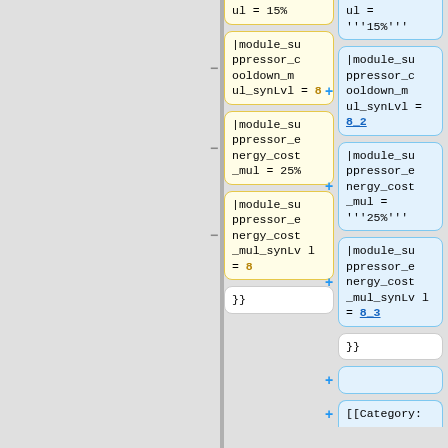ul = 15%
ul = """15%"""
|module_suppressor_cooldown_mul_synLvl = 8
|module_suppressor_cooldown_mul_synLvl = 8_2
|module_suppressor_energy_cost_mul = 25%
|module_suppressor_energy_cost_mul = """25%"""
|module_suppressor_energy_cost_mul_synLvl = 8
|module_suppressor_energy_cost_mul_synLvl = 8_3
}}
}}
+
+ [[Category: